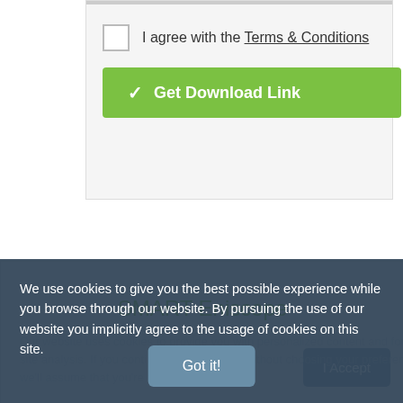I agree with the Terms & Conditions
Get Download Link
SMART Eniscope
We use cookies to give you the best possible experience while you browse through our website. By pursuing the use of our website you implicitly agree to the usage of cookies on this site.
Our website uses cookies to provide you with personalized content and for site analysis. If you continue to use the site without choosing your preference, we'll assume that you're fine with cookies.
Got it!
I Accept